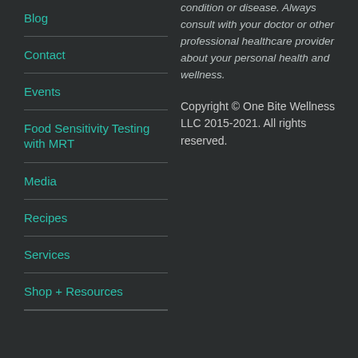Blog
Contact
Events
Food Sensitivity Testing with MRT
Media
Recipes
Services
Shop + Resources
condition or disease. Always consult with your doctor or other professional healthcare provider about your personal health and wellness.
Copyright © One Bite Wellness LLC 2015-2021. All rights reserved.